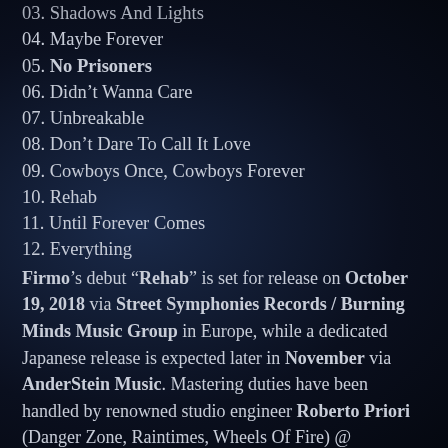03. Shadows And Lights
04. Maybe Forever
05. No Prisoners
06. Didn’t Wanna Care
07. Unbreakable
08. Don’t Dare To Call It Love
09. Cowboys Once, Cowboys Forever
10. Rehab
11. Until Forever Comes
12. Everything
Firmo’s debut “Rehab” is set for release on October 19, 2018 via Street Symphonies Records / Burning Minds Music Group in Europe, while a dedicated Japanese release is expected later in November via AnderStein Music. Mastering duties have been handled by renowned studio engineer Roberto Priori (Danger Zone, Raintimes, Wheels Of Fire) @ PriStudio (Bologna – Italy). CD